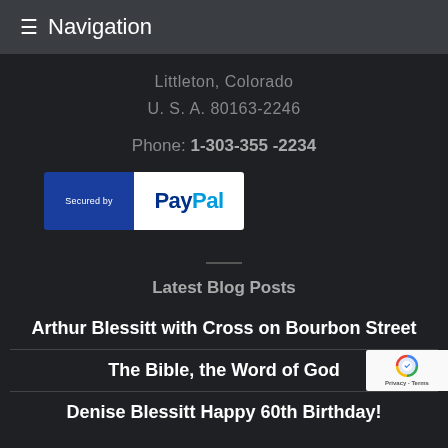≡ Navigation
Littleton, Colorado
U. S. A. 80163-2246
Phone: 1-303-355 -2234
[Figure (logo): Secured by PayPal badge with blue left panel and white right panel]
Latest Blog Posts
Arthur Blessitt with Cross on Bourbon Street
The Bible, the Word of God
Denise Blessitt Happy 60th Birthday!